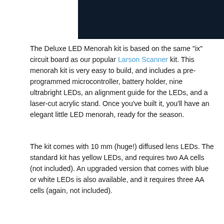[Figure (photo): Dark navy/black rectangular image block in upper right portion of the page]
The Deluxe LED Menorah kit is based on the same "ix" circuit board as our popular Larson Scanner kit. This menorah kit is very easy to build, and includes a pre-programmed microcontroller, battery holder, nine ultrabright LEDs, an alignment guide for the LEDs, and a laser-cut acrylic stand. Once you've built it, you'll have an elegant little LED menorah, ready for the season.
The kit comes with 10 mm (huge!) diffused lens LEDs. The standard kit has yellow LEDs, and requires two AA cells (not included). An upgraded version that comes with blue or white LEDs is also available, and it requires three AA cells (again, not included).